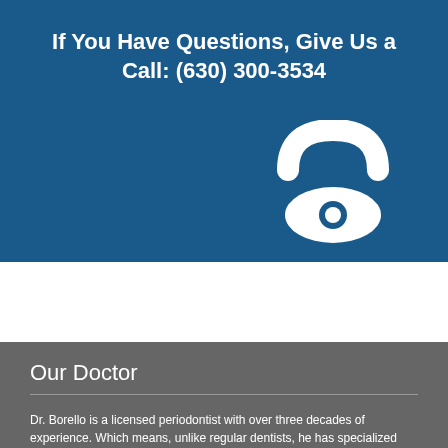If You Have Questions, Give Us a Call: (630) 300-3534
[Figure (illustration): White telephone icon on blue background]
Our Doctor
Dr. Borello is a licensed periodontist with over three decades of experience. Which means, unlike regular dentists, he has specialized expertise